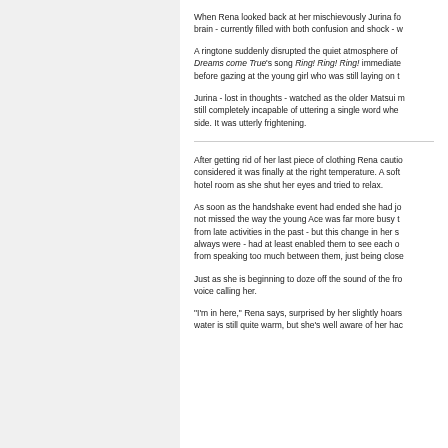When Rena looked back at her mischievously Jurina found her brain - currently filled with both confusion and shock - w
A ringtone suddenly disrupted the quiet atmosphere of Dreams come True's song Ring! Ring! Ring! immediately before gazing at the young girl who was still laying on t
Jurina - lost in thoughts - watched as the older Matsui m still completely incapable of uttering a single word whe side. It was utterly frightening.
After getting rid of her last piece of clothing Rena cautio considered it was finally at the right temperature. A soft hotel room as she shut her eyes and tried to relax.
As soon as the handshake event had ended she had jo not missed the way the young Ace was far more busy t from late activities in the past - but this change in her s always were - had at least enabled them to see each o from speaking too much between them, just being close
Just as she is beginning to doze off the sound of the fro voice calling her.
"I'm in here," Rena says, surprised by her slightly hoars water is still quite warm, but she's well aware of her hac